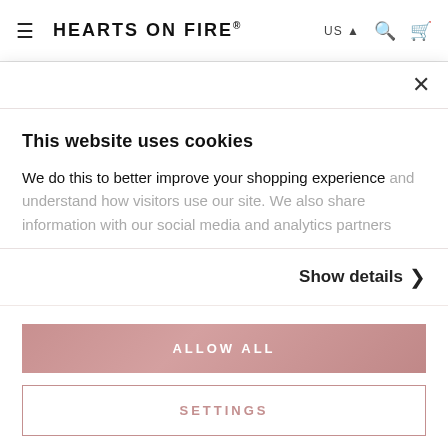≡  HEARTS ON FIRE®    US ▲  🔍  🛍
This website uses cookies
We do this to better improve your shopping experience and understand how visitors use our site. We also share information with our social media and analytics partners
Show details >
ALLOW ALL
SETTINGS
unless its specifically exempt from taxation. purchase which HOF does not collect sales tax, your